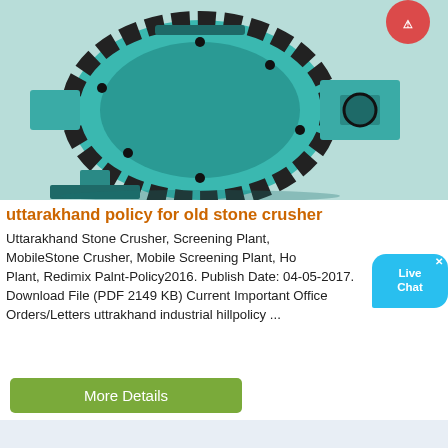[Figure (photo): A large teal/turquoise industrial ball mill or stone crusher machine with large gear, bolted drum, and motor, photographed against a light background.]
uttarakhand policy for old stone crusher
Uttarakhand Stone Crusher, Screening Plant, MobileStone Crusher, Mobile Screening Plant, Ho Plant, Redimix Palnt-Policy2016. Publish Date: 04-05-2017. Download File (PDF 2149 KB) Current Important Office Orders/Letters uttrakhand industrial hillpolicy ...
[Figure (other): Live Chat bubble overlay widget — blue speech bubble with white text 'Live Chat' and an X close button.]
More Details
[Figure (photo): An outdoor industrial stone crushing and screening plant with conveyor belts, hoppers, black metal structures, and a clear sky background.]